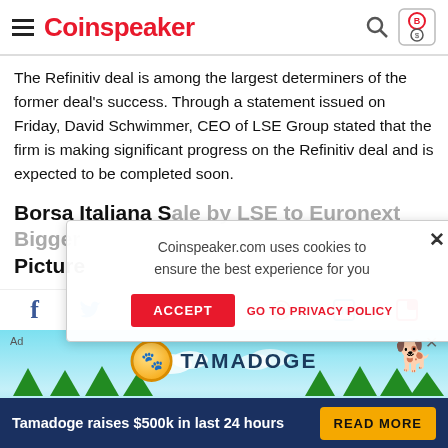Coinspeaker
The Refinitiv deal is among the largest determiners of the former deal’s success. Through a statement issued on Friday, David Schwimmer, CEO of LSE Group stated that the firm is making significant progress on the Refinitiv deal and is expected to be completed soon.
Borsa Italiana Sale by LSE to Euronext Bigger Picture
LSE is seeking to set clear standards ahead of the December review by the EU. “We believe the sale of the Borsa Italiana group will contribute significantly to addressing the EU’s competition concerns,” Schwimmer indicated.
[Figure (screenshot): Cookie consent popup overlay: 'Coinspeaker.com uses cookies to ensure the best experience for you' with ACCEPT button and GO TO PRIVACY POLICY link]
[Figure (infographic): Tamadoge advertisement banner: 'Tamadoge raises $500k in last 24 hours' with READ MORE button on dark blue background with cyan sky background and pixel art dog]
Social share icons: Facebook, Twitter, Instagram, Telegram, Reddit, LinkedIn, and another icon